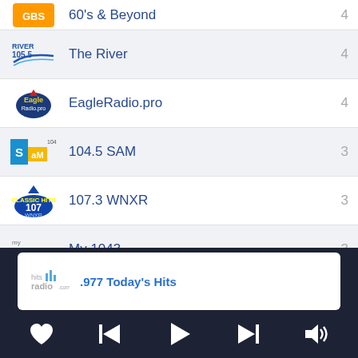60's & Beyond — 4
The River — 4
EagleRadio.pro — 4
104.5 SAM — 3
107.3 WNXR — 3
My 1043 — 3
HOT 100.7 — 3
.977 Today's Hits